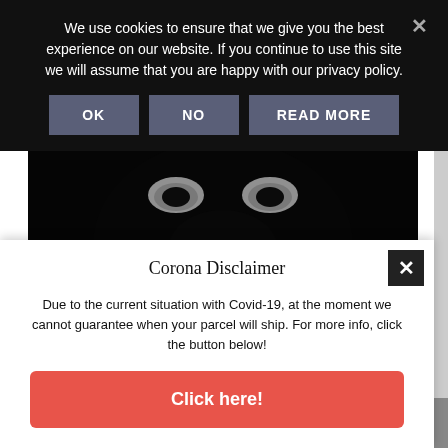We use cookies to ensure that we give you the best experience on our website. If you continue to use this site we will assume that you are happy with our privacy policy.
OK  NO  READ MORE
[Figure (photo): Black and white close-up photo of a growling animal (wolf or bear) showing teeth, very dark background]
Corona Disclaimer
Due to the current situation with Covid-19, at the moment we cannot guarantee when your parcel will ship. For more info, click the button below!
Click here!